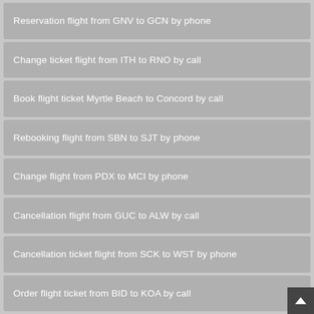Reservation flight from GNV to GCN by phone
Change ticket flight from ITH to RNO by call
Book flight ticket Myrtle Beach to Concord by call
Rebooking flight from SBN to SJT by phone
Change flight from PDX to MCI by phone
Cancellation flight from GUC to ALW by call
Cancellation ticket flight from SCK to WST by phone
Order flight ticket from BID to KOA by call